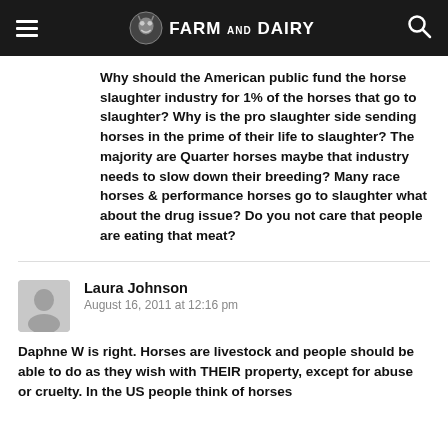Farm and Dairy
Why should the American public fund the horse slaughter industry for 1% of the horses that go to slaughter? Why is the pro slaughter side sending horses in the prime of their life to slaughter? The majority are Quarter horses maybe that industry needs to slow down their breeding? Many race horses & performance horses go to slaughter what about the drug issue? Do you not care that people are eating that meat?
Laura Johnson
August 16, 2011 at 12:16 pm
Daphne W is right. Horses are livestock and people should be able to do as they wish with THEIR property, except for abuse or cruelty. In the US people think of horses